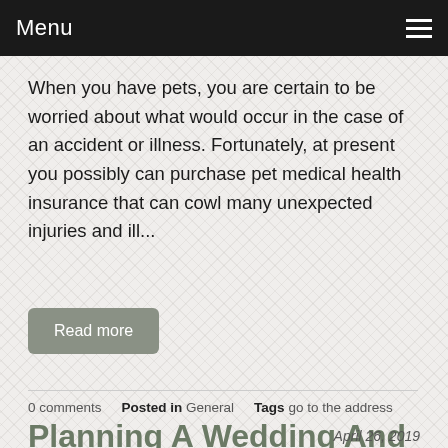Menu
When you have pets, you are certain to be worried about what would occur in the case of an accident or illness. Fortunately, at present you possibly can purchase pet medical health insurance that can cowl many unexpected injuries and ill...
Read more
0 comments   Posted in General   Tags go to the address
Planning A Wedding And not using a Headache
April 26, 2019